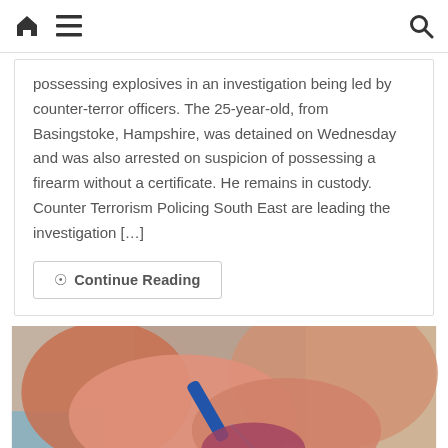Navigation bar with home, menu, and search icons
possessing explosives in an investigation being led by counter-terror officers. The 25-year-old, from Basingstoke, Hampshire, was detained on Wednesday and was also arrested on suspicion of possessing a firearm without a certificate. He remains in custody. Counter Terrorism Policing South East are leading the investigation [...]
Continue Reading
[Figure (photo): Close-up photo of gloved hands (pink/orange latex gloves) using a dental or medical instrument on what appears to be gum tissue or a specimen, with blue background elements visible.]